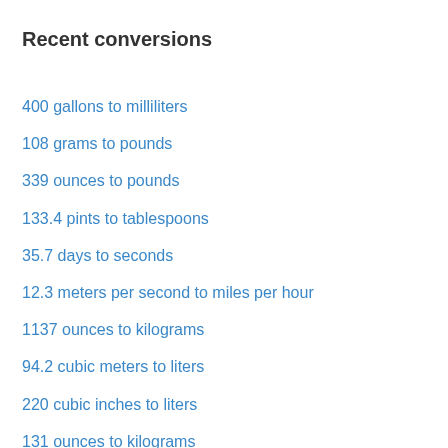Recent conversions
400 gallons to milliliters
108 grams to pounds
339 ounces to pounds
133.4 pints to tablespoons
35.7 days to seconds
12.3 meters per second to miles per hour
1137 ounces to kilograms
94.2 cubic meters to liters
220 cubic inches to liters
131 ounces to kilograms